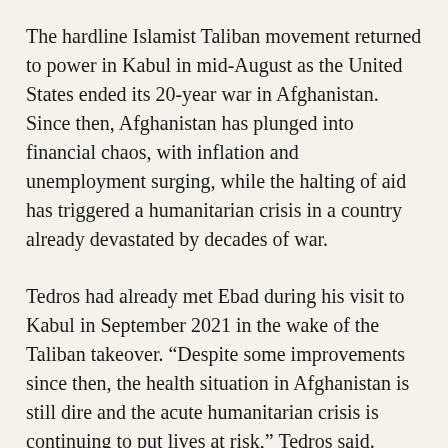The hardline Islamist Taliban movement returned to power in Kabul in mid-August as the United States ended its 20-year war in Afghanistan. Since then, Afghanistan has plunged into financial chaos, with inflation and unemployment surging, while the halting of aid has triggered a humanitarian crisis in a country already devastated by decades of war.
Tedros had already met Ebad during his visit to Kabul in September 2021 in the wake of the Taliban takeover. “Despite some improvements since then, the health situation in Afghanistan is still dire and the acute humanitarian crisis is continuing to put lives at risk,” Tedros said.